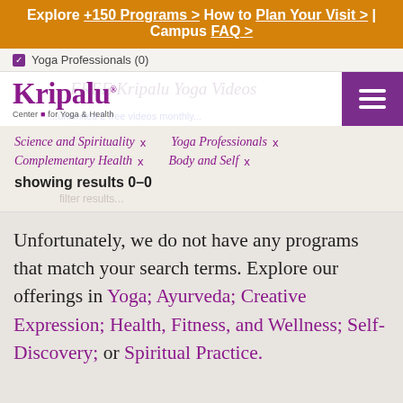Explore +150 Programs > How to Plan Your Visit > | Campus FAQ >
[Figure (logo): Kripalu Center for Yoga & Health logo with purple text]
Yoga Professionals (0)
Science and Spirituality x   Yoga Professionals x   Complementary Health x   Body and Self x
showing results 0–0
Unfortunately, we do not have any programs that match your search terms. Explore our offerings in Yoga; Ayurveda; Creative Expression; Health, Fitness, and Wellness; Self-Discovery; or Spiritual Practice.